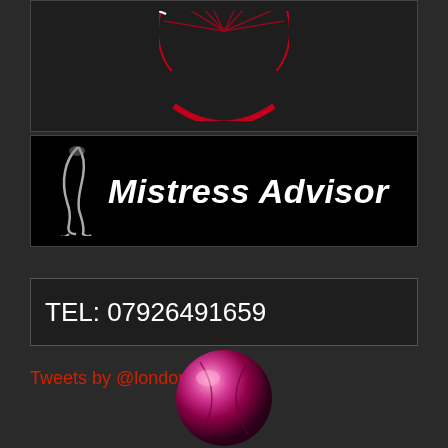[Figure (logo): Circular red stamp-style logo with 'MISTRESS' text and radiating lines, partially cropped at top]
[Figure (logo): Black banner with stylized leg silhouette and 'Mistress Advisor' text in white italic bold font]
TEL: 07926491659
Tweets by @londonmislinda
[Figure (illustration): Shiny dark pink/magenta spherical orb with reflective surface]